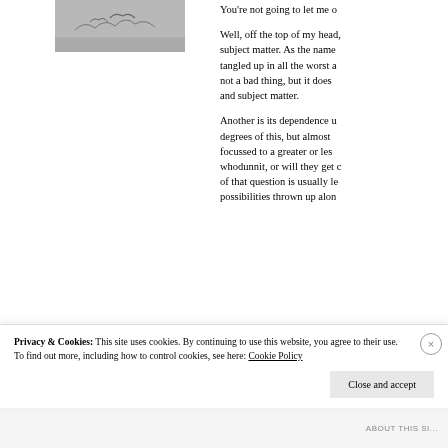[Figure (photo): Small grayscale photograph, appears to show birds or animals in a landscape]
You're not going to let me o
Well, off the top of my head, subject matter. As the name tangled up in all the worst a not a bad thing, but it does and subject matter.
Another is its dependence u degrees of this, but almost focussed to a greater or les whodunnit, or will they get c of that question is usually le possibilities thrown up alon
Privacy & Cookies: This site uses cookies. By continuing to use this website, you agree to their use.
To find out more, including how to control cookies, see here: Cookie Policy
Close and accept
about this si...